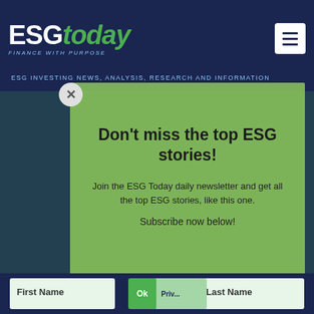ESGtoday - FINANCE WITH PURPOSE - ESG INVESTING NEWS, ANALYSIS, RESEARCH AND INFORMATION
[Figure (screenshot): ESG Today website screenshot with newsletter signup modal overlay on green background. Modal reads: Don't miss the top ESG stories! Join the ESG Today daily newsletter and get all the top ESG stories, like this one. Subscribe now below!]
Don't miss the top ESG stories!
Join the ESG Today daily newsletter and get all the top ESG stories, like this one.
Subscribe now below!
We use cookies to ensure that we give you the best experience on our website. If you continue to use this site we will assume that you are happy with it.
First Name
Last Name